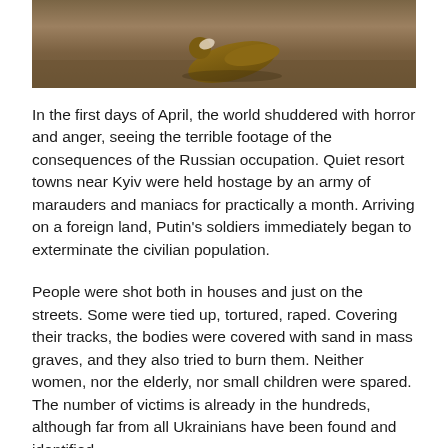[Figure (photo): Photograph showing a person or figure on the ground, brownish tones, appears to depict a war-related scene.]
In the first days of April, the world shuddered with horror and anger, seeing the terrible footage of the consequences of the Russian occupation. Quiet resort towns near Kyiv were held hostage by an army of marauders and maniacs for practically a month. Arriving on a foreign land, Putin’s soldiers immediately began to exterminate the civilian population.
People were shot both in houses and just on the streets. Some were tied up, tortured, raped. Covering their tracks, the bodies were covered with sand in mass graves, and they also tried to burn them. Neither women, nor the elderly, nor small children were spared. The number of victims is already in the hundreds, although far from all Ukrainians have been found and identified.
Irpin, Gostomel, Motyzhin survived a real hell before they were liberated by Ukrainian soldiers. And the small town of Bucha became a symbol of a new genocide. Genocide in these circumstances is not a metaphor. It is the most severe criminal